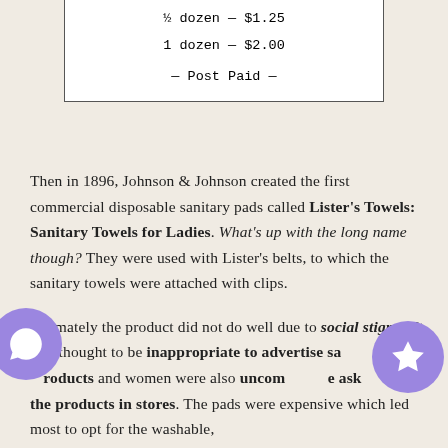| ½ dozen — $1.25 |
| 1 dozen — $2.00 |
| — Post Paid — |
Then in 1896, Johnson & Johnson created the first commercial disposable sanitary pads called Lister's Towels: Sanitary Towels for Ladies. What's up with the long name though? They were used with Lister's belts, to which the sanitary towels were attached with clips.
Ultimately the product did not do well due to social stigma. It was thought to be inappropriate to advertise sanitary products and women were also uncomfortable asking for the products in stores. The pads were expensive which led most to opt for the washable,